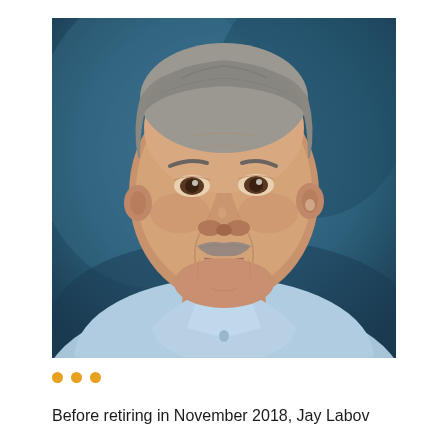[Figure (photo): Professional headshot of Jay Labov, a middle-aged man with gray hair and a gray mustache, wearing a light blue dress shirt, photographed against a dark teal/blue background.]
Before retiring in November 2018, Jay Labov